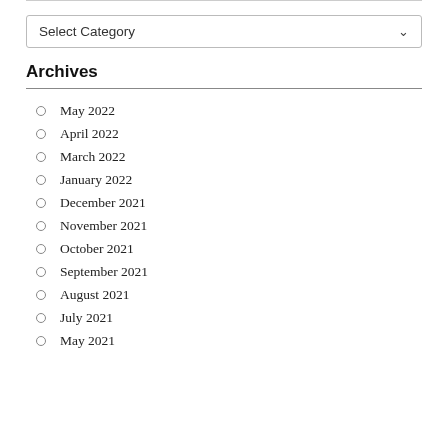Select Category
Archives
May 2022
April 2022
March 2022
January 2022
December 2021
November 2021
October 2021
September 2021
August 2021
July 2021
May 2021